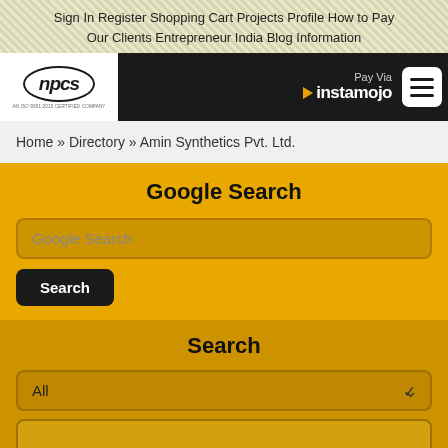Sign In  Register  Shopping Cart  Projects  Profile  How to Pay  Our Clients  Entrepreneur India  Blog  Information
[Figure (logo): NPCS company logo — oval with italic 'npcs' text on white background, inside dark header bar with Instamojo payment option and hamburger menu]
Home » Directory » Amin Synthetics Pvt. Ltd.
Google Search
Google Search
Search
Search
All
Search »
Advance Search